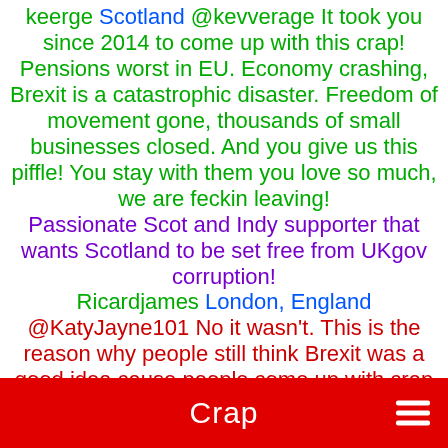keerge Scotland @kevverage It took you since 2014 to come up with this crap! Pensions worst in EU. Economy crashing, Brexit is a catastrophic disaster. Freedom of movement gone, thousands of small businesses closed. And you give us this piffle! You stay with them you love so much, we are feckin leaving! Passionate Scot and Indy supporter that wants Scotland to be set free from UKgov corruption! Ricardjames London, England @KatyJayne101 No it wasn't. This is the reason why people still think Brexit was a good idea cause people come up with crap like this and not facts. keithfrancis60 Liverpool, England @bobbt2417 @Suewilson91 Brexit is crap. every one with half a brain can see that. Reesmogg needs your
Crap